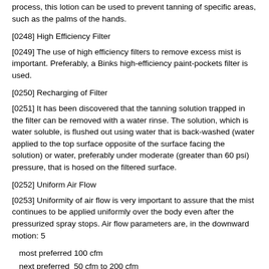process, this lotion can be used to prevent tanning of specific areas, such as the palms of the hands.
[0248] High Efficiency Filter
[0249] The use of high efficiency filters to remove excess mist is important. Preferably, a Binks high-efficiency paint-pockets filter is used.
[0250] Recharging of Filter
[0251] It has been discovered that the tanning solution trapped in the filter can be removed with a water rinse. The solution, which is water soluble, is flushed out using water that is back-washed (water applied to the top surface opposite of the surface facing the solution) or water, preferably under moderate (greater than 60 psi) pressure, that is hosed on the filtered surface.
[0252] Uniform Air Flow
[0253] Uniformity of air flow is very important to assure that the mist continues to be applied uniformly over the body even after the pressurized spray stops. Air flow parameters are, in the downward motion: 5
most preferred 100 cfm
next preferred  50 cfm to 200 cfm
next preferred  25 cfm to 300 cfm